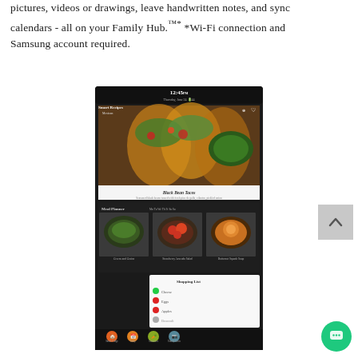pictures, videos or drawings, leave handwritten notes, and sync calendars - all on your Family Hub.™* *Wi-Fi connection and Samsung account required.
[Figure (screenshot): Samsung Family Hub refrigerator screen showing Smart Recipes with Black Bean Tacos, Meal Planner with food images, and Shopping List interface with colorful food photos and navigation icons at bottom]